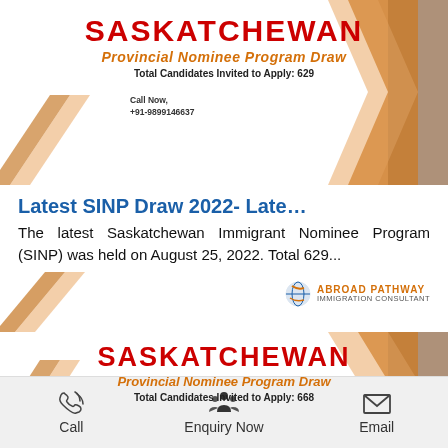[Figure (infographic): Saskatchewan Provincial Nominee Program Draw card with red chevron decorative shapes. Title: SASKATCHEWAN in red, subtitle: Provincial Nominee Program Draw in orange italic, Total Candidates Invited to Apply: 629, Call Now +91-9899146637]
Latest SINP Draw 2022- Late…
The latest Saskatchewan Immigrant Nominee Program (SINP) was held on August 25, 2022. Total 629...
[Figure (logo): Abroad Pathway Immigration Consultant logo with globe icon]
[Figure (infographic): Second Saskatchewan Provincial Nominee Program Draw card. Title: SASKATCHEWAN in red, subtitle: Provincial Nominee Program Draw in orange italic, Total Candidates Invited to Apply: 668]
Call   Enquiry Now   Email